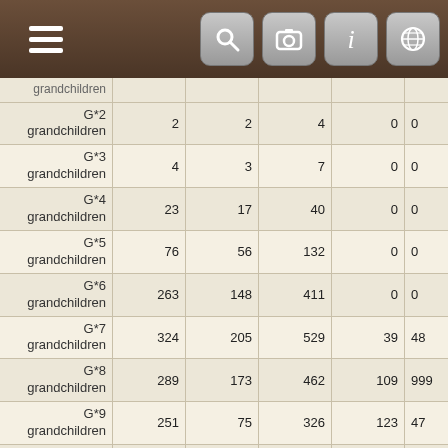[Figure (screenshot): Mobile app navigation bar with hamburger menu icon on left and four icon buttons (search, camera, info, globe) on right, dark brown background]
|  | Col1 | Col2 | Col3 | Col4 | Col5 |
| --- | --- | --- | --- | --- | --- |
| grandchildren (partial) |  |  |  |  |  |
| G*2 grandchildren | 2 | 2 | 4 | 0 | 0 |
| G*3 grandchildren | 4 | 3 | 7 | 0 | 0 |
| G*4 grandchildren | 23 | 17 | 40 | 0 | 0 |
| G*5 grandchildren | 76 | 56 | 132 | 0 | 0 |
| G*6 grandchildren | 263 | 148 | 411 | 0 | 0 |
| G*7 grandchildren | 324 | 205 | 529 | 39 | 48 |
| G*8 grandchildren | 289 | 173 | 462 | 109 | 999 |
| G*9 grandchildren | 251 | 75 | 326 | 123 | 47 |
| G*10 grandchildren | 97 | 5 | 102 | 64 | 3 |
| G*11 grandchildren | 4 | 0 | 4 | 4 | 0 |
| Total | 1346 | 688 | 2034 | 339 | 197 |